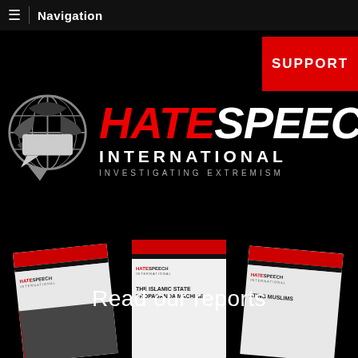Navigation
[Figure (logo): Hate Speech International logo with globe speech bubble icon and red/white bold stylized text reading HATE SPEECH INTERNATIONAL - INVESTIGATING EXTREMISM]
SUPPORT
[Figure (photo): Three Hate Speech International report covers arranged side by side: 'Continuity and Change', 'The Islamic State Propaganda Machine', and a third report about Muslims. The text 'Read our reports' is overlaid in white.]
Read our reports